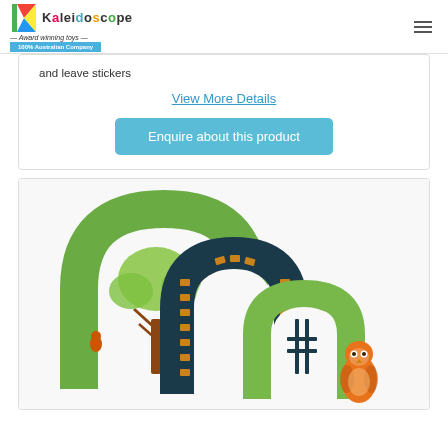Kaleidoscope – Award winning toys – 100% Australian Company
and leave stickers
View More Details
Enquire about this product
[Figure (photo): Wooden arch tunnel toy set with forest themed arch pieces in green and dark teal colors, decorated with trees, stones, and a small owl figurine at the base]